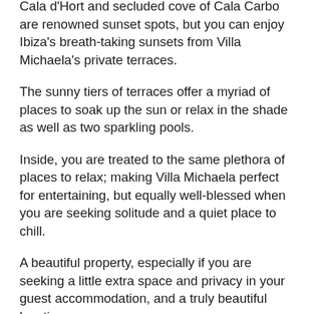Cala d'Hort and secluded cove of Cala Carbo are renowned sunset spots, but you can enjoy Ibiza's breath-taking sunsets from Villa Michaela's private terraces.
The sunny tiers of terraces offer a myriad of places to soak up the sun or relax in the shade as well as two sparkling pools.
Inside, you are treated to the same plethora of places to relax; making Villa Michaela perfect for entertaining, but equally well-blessed when you are seeking solitude and a quiet place to chill.
A beautiful property, especially if you are seeking a little extra space and privacy in your guest accommodation, and a truly beautiful location.